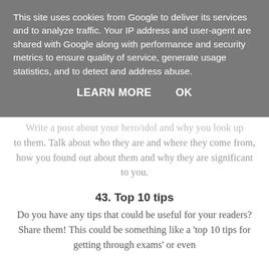This site uses cookies from Google to deliver its services and to analyze traffic. Your IP address and user-agent are shared with Google along with performance and security metrics to ensure quality of service, generate usage statistics, and to detect and address abuse.
LEARN MORE    OK
Write a post about your hero/idol and why you look up to them. Talk about who they are and where they come from, how you found out about them and why they are significant to you.
43. Top 10 tips
Do you have any tips that could be useful for your readers? Share them! This could be something like a 'top 10 tips for getting through exams' or even